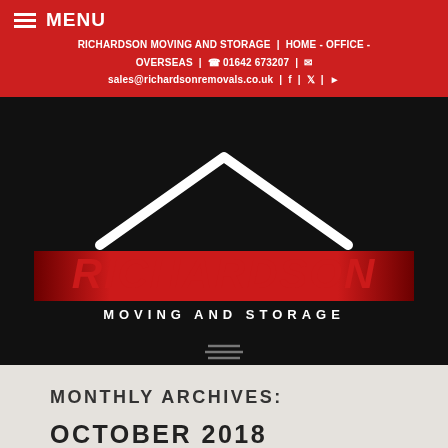≡ MENU
RICHARDSON MOVING AND STORAGE | HOME - OFFICE - OVERSEAS | 📞 01642 673207 | ✉ sales@richardsonremovals.co.uk | f | 🐦 | ▶
[Figure (logo): Richardson Moving and Storage logo: white roof/chevron outline above red stripe with bold italic red RICHARDSON text and white MOVING AND STORAGE text below, on black background]
MONTHLY ARCHIVES:
OCTOBER 2018